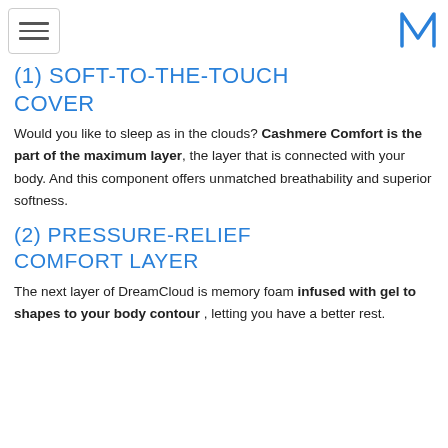[hamburger menu] [M logo]
(1) SOFT-TO-THE-TOUCH COVER
Would you like to sleep as in the clouds? Cashmere Comfort is the part of the maximum layer, the layer that is connected with your body. And this component offers unmatched breathability and superior softness.
(2) PRESSURE-RELIEF COMFORT LAYER
The next layer of DreamCloud is memory foam infused with gel to shapes to your body contour , letting you have a better rest.